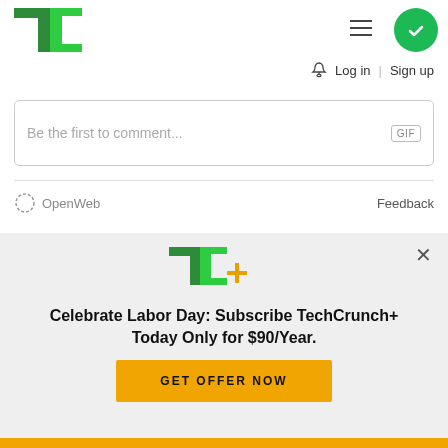[Figure (logo): TechCrunch TC logo in green]
Log in | Sign up
Be the first to comment...
[Figure (logo): OpenWeb logo with gear icon]
Feedback
[Figure (logo): TC+ TechCrunch Plus logo]
Celebrate Labor Day: Subscribe TechCrunch+ Today Only for $90/Year.
GET OFFER NOW